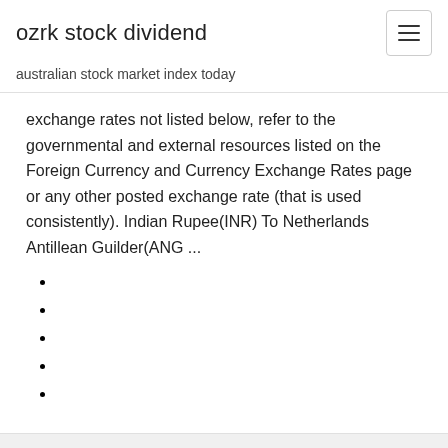ozrk stock dividend
australian stock market index today
exchange rates not listed below, refer to the governmental and external resources listed on the Foreign Currency and Currency Exchange Rates page or any other posted exchange rate (that is used consistently). Indian Rupee(INR) To Netherlands Antillean Guilder(ANG ...